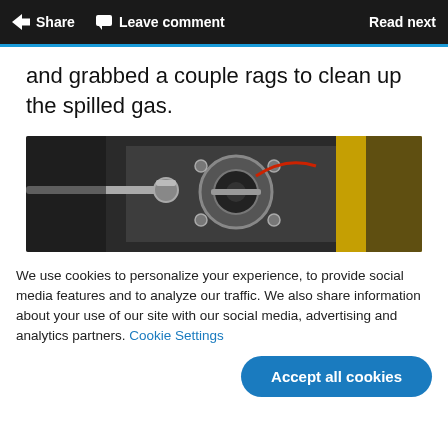Share   Leave comment   Read next
and grabbed a couple rags to clean up the spilled gas.
[Figure (photo): Close-up photo of an engine carburetor or throttle body, with metallic components visible and a yellow cloth in the background]
We use cookies to personalize your experience, to provide social media features and to analyze our traffic. We also share information about your use of our site with our social media, advertising and analytics partners. Cookie Settings
Accept all cookies